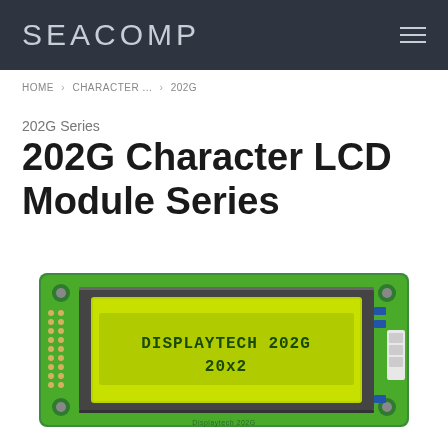SEACOMP
HOME › CHARACTER ... › 202G
202G Series
202G Character LCD Module Series
[Figure (photo): Photo of a 202G Character LCD Module board, a green PCB with a yellow-green LCD screen displaying 'DISPLAYTECH 202G' on the first line and '20x2' on the second line. The board has mounting holes at corners and a connector strip on the left side.]